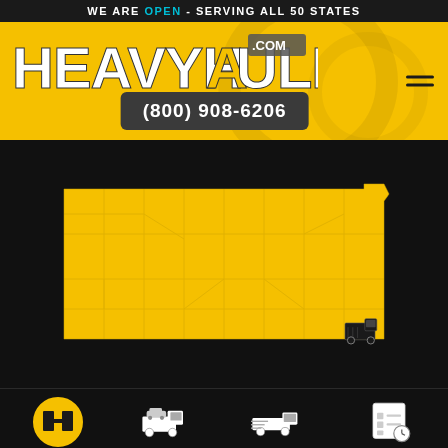WE ARE OPEN - SERVING ALL 50 STATES
[Figure (logo): HeavyHaulers.com logo in bold distressed font on yellow background]
(800) 908-6206
[Figure (map): Yellow silhouette map of Kansas state on dark background]
[Figure (infographic): Bottom navigation bar with four icons: Meet Team (HH circle logo), Pictures (truck with car), Services (flatbed truck), Get Quote (clipboard with clock)]
Meet Team
Pictures
Services
Get Quote